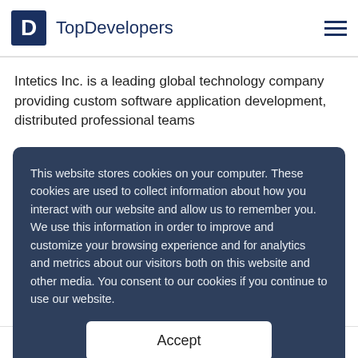TopDevelopers
Intetics Inc. is a leading global technology company providing custom software application development, distributed professional teams
This website stores cookies on your computer. These cookies are used to collect information about how you interact with our website and allow us to remember you. We use this information in order to improve and customize your browsing experience and for analytics and metrics about our visitors both on this website and other media. You consent to our cookies if you continue to use our website.
Accept
Employees: 251 to 1000